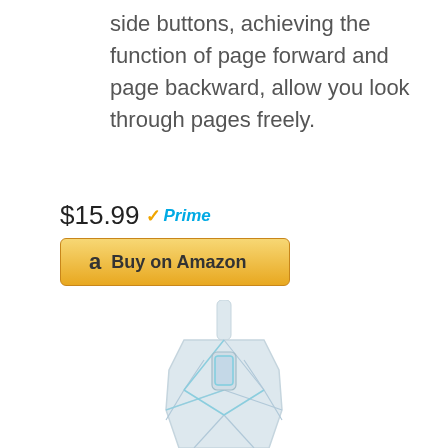side buttons, achieving the function of page forward and page backward, allow you look through pages freely.
$15.99 Prime
Buy on Amazon
[Figure (photo): White gaming computer mouse with geometric faceted design and teal/cyan LED lighting, viewed from above, with a white USB cable extending from the top.]